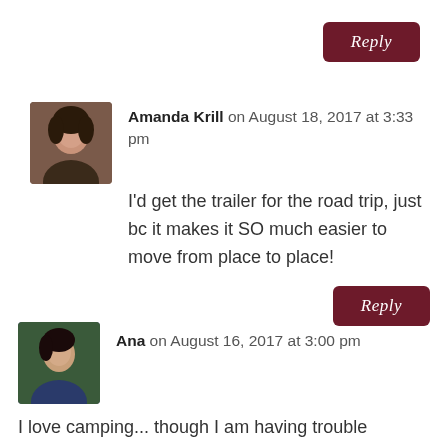Reply
Amanda Krill on August 18, 2017 at 3:33 pm
I'd get the trailer for the road trip, just bc it makes it SO much easier to move from place to place!
Reply
Ana on August 16, 2017 at 3:00 pm
I love camping... though I am having trouble convincing people how great it is, how resting sleeping closer to the ground is and how beautiful is to stay at